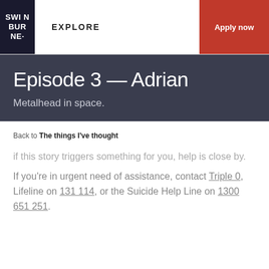SWINBURNE · | Explore | Apply now
Episode 3 — Adrian
Metalhead in space.
Back to The things I've thought
if this story triggers something for you, help is close by.
If you're in urgent need of assistance, contact Triple 0, Lifeline on 131 114, or the Suicide Help Line on 1300 651 251.